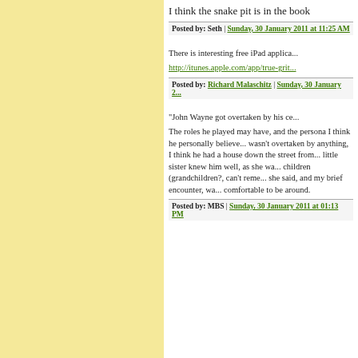I think the snake pit is in the book
Posted by: Seth | Sunday, 30 January 2011 at 11:25 AM
There is interesting free iPad applica...
http://itunes.apple.com/app/true-grit...
Posted by: Richard Malaschitz | Sunday, 30 January 2...
"John Wayne got overtaken by his ce...
The roles he played may have, and the persona I think he personally believe... wasn't overtaken by anything, I think he had a house down the street from... little sister knew him well, as she wa... children (grandchildren?, can't reme... she said, and my brief encounter, wa... comfortable to be around.
Posted by: MBS | Sunday, 30 January 2011 at 01:13 PM